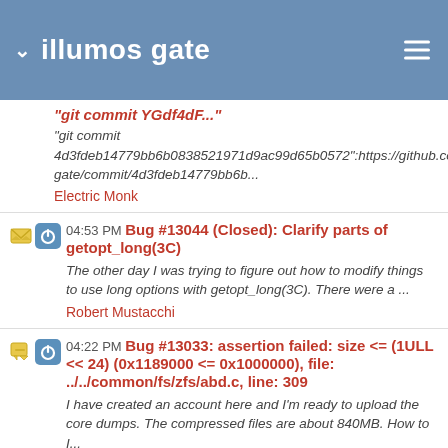illumos gate
"git commit 4d3fdeb14779bb6b0838521971d9ac99d65b0572":https://github.com/gate/commit/4d3fdeb14779bb6b...
Electric Monk
04:53 PM Bug #13044 (Closed): Clarify parts of getopt_long(3C)
The other day I was trying to figure out how to modify things to use long options with getopt_long(3C). There were a ...
Robert Mustacchi
04:22 PM Bug #13033: assertion failed: size <= (1ULL << 24) (0x1189000 <= 0x1000000), file: ../../common/fs/zfs/abd.c, line: 309
I have created an account here and I'm ready to upload the core dumps. The compressed files are about 840MB. How to I...
Jack Whitehead